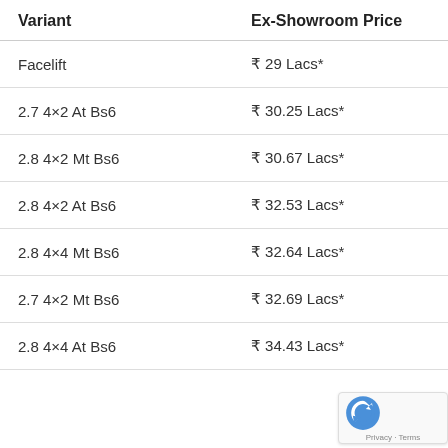| Variant | Ex-Showroom Price |
| --- | --- |
| Facelift | ₹ 29 Lacs* |
| 2.7 4×2 At Bs6 | ₹ 30.25 Lacs* |
| 2.8 4×2 Mt Bs6 | ₹ 30.67 Lacs* |
| 2.8 4×2 At Bs6 | ₹ 32.53 Lacs* |
| 2.8 4×4 Mt Bs6 | ₹ 32.64 Lacs* |
| 2.7 4×2 Mt Bs6 | ₹ 32.69 Lacs* |
| 2.8 4×4 At Bs6 | ₹ 34.43 Lacs* |